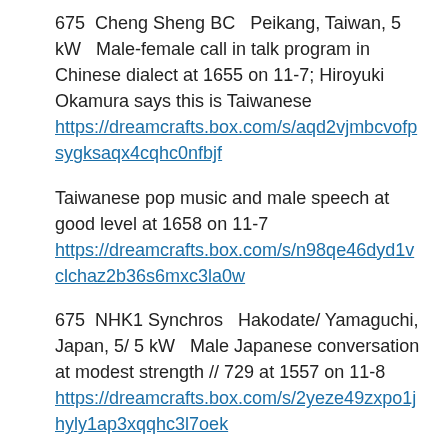675  Cheng Sheng BC   Peikang, Taiwan, 5 kW   Male-female call in talk program in Chinese dialect at 1655 on 11-7; Hiroyuki Okamura says this is Taiwanese https://dreamcrafts.box.com/s/aqd2vjmbcvofpsygksaqx4cqhc0nfbjf
Taiwanese pop music and male speech at good level at 1658 on 11-7 https://dreamcrafts.box.com/s/n98qe46dyd1vclchaz2b36s6mxc3la0w
675  NHK1 Synchros   Hakodate/ Yamaguchi, Japan, 5/ 5 kW   Male Japanese conversation at modest strength // 729 at 1557 on 11-8 https://dreamcrafts.box.com/s/2yeze49zxpo1jhyly1ap3xqqhc3l7oek
675  VoV   My Hao, Vietnam, 500 kW   Female speech at very good level // 711 at 1637 on 11-7